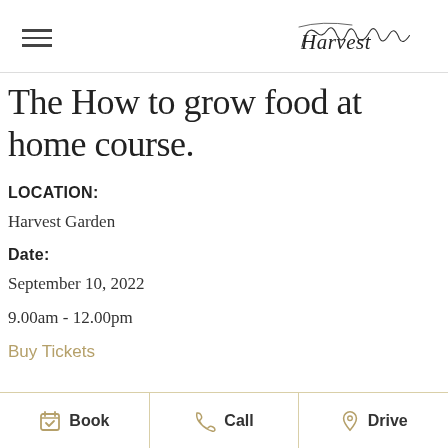Harvest
The How to grow food at home course.
LOCATION:
Harvest Garden
Date:
September 10, 2022
9.00am - 12.00pm
Buy Tickets
Book   Call   Drive